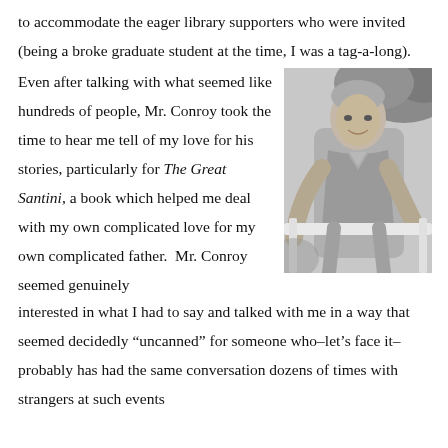to accommodate the eager library supporters who were invited (being a broke graduate student at the time, I was a tag-a-long).
[Figure (photo): Black and white photograph of a middle-aged man with short grey hair, smiling and leaning on a white railing outdoors, wearing a short-sleeved polo shirt.]
Even after talking with what seemed like hundreds of people, Mr. Conroy took the time to hear me tell of my love for his stories, particularly for The Great Santini, a book which helped me deal with my own complicated love for my own complicated father.  Mr. Conroy seemed genuinely interested in what I had to say and talked with me in a way that seemed decidedly “uncanned” for someone who–let’s face it–probably has had the same conversation dozens of times with strangers at such events